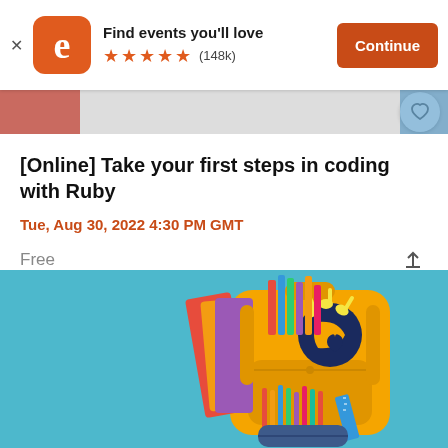[Figure (screenshot): Eventbrite app banner with orange logo, 'Find events you'll love' text, 5 star rating (148k reviews), and orange Continue button]
[Online] Take your first steps in coding with Ruby
Tue, Aug 30, 2022 4:30 PM GMT
Free
[Figure (photo): Yellow school backpack with colored pencils and stationery on a teal blue background]